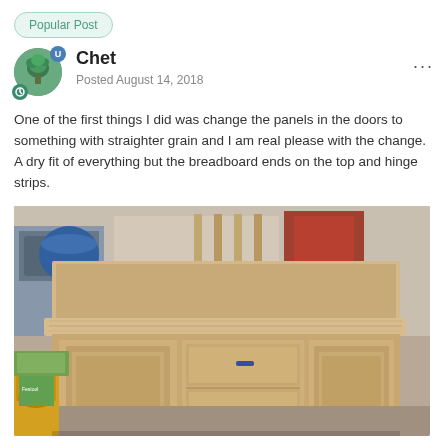Popular Post
Chet
Posted August 14, 2018
One of the first things I did was change the panels in the doors to something with straighter grain and I am real please with the change.  A dry fit of everything but the breadboard ends on the top and hinge strips.
[Figure (photo): A wooden sideboard/buffet cabinet with two side cabinet doors with recessed panels, two central drawers with small blue handles, and legs, shown dry-fitted in a workshop garage setting.]